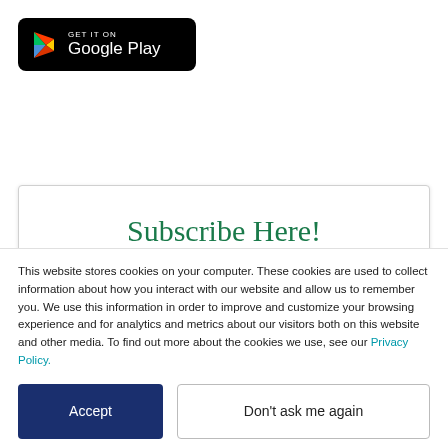[Figure (logo): Google Play store badge — black rounded rectangle with multicolor Play triangle icon, text 'GET IT ON' above 'Google Play' in white]
Subscribe Here!
This website stores cookies on your computer. These cookies are used to collect information about how you interact with our website and allow us to remember you. We use this information in order to improve and customize your browsing experience and for analytics and metrics about our visitors both on this website and other media. To find out more about the cookies we use, see our Privacy Policy.
Accept
Don't ask me again